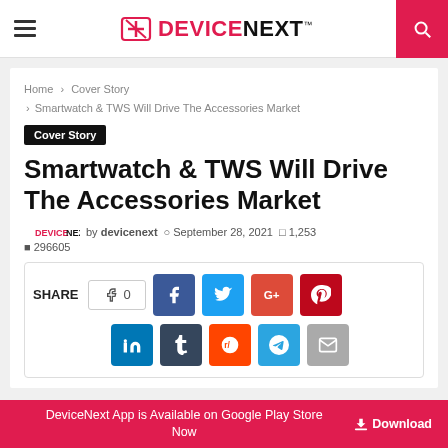DeviceNext — hamburger menu, logo, search
Home > Cover Story > Smartwatch & TWS Will Drive The Accessories Market
Cover Story
Smartwatch & TWS Will Drive The Accessories Market
DEVICENEXT by devicenext  September 28, 2021  1,253  296605
[Figure (infographic): Social share bar with like button (0), Facebook, Twitter, Google+, Pinterest, LinkedIn, Tumblr, Reddit, Telegram, Email icons]
DeviceNext App is Available on Google Play Store Now  Download